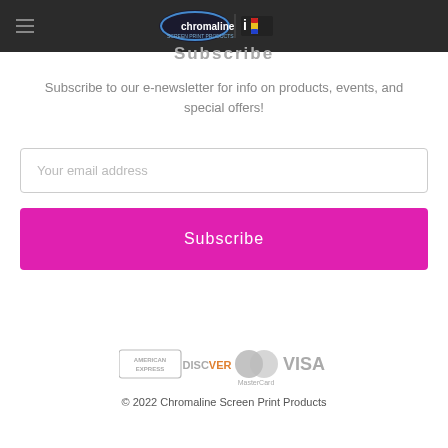Chromaline logo header navigation
Subscribe
Subscribe to our e-newsletter for info on products, events, and special offers!
Your email address
Subscribe
[Figure (logo): Payment method logos: American Express, Discover, MasterCard, Visa]
© 2022 Chromaline Screen Print Products